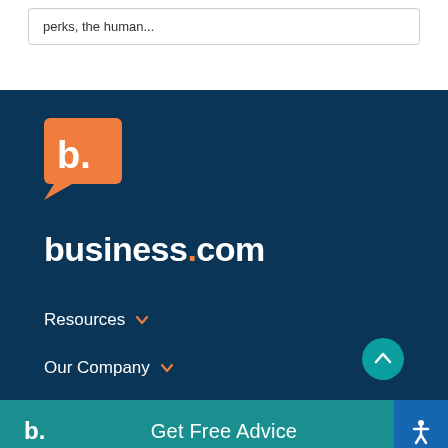perks, the human...
[Figure (logo): business.com logo: orange speech bubble with white lowercase b. inside it, followed by business.com wordmark in white bold text on dark navy background]
business.com
Resources
Our Company
b. Get Free Advice